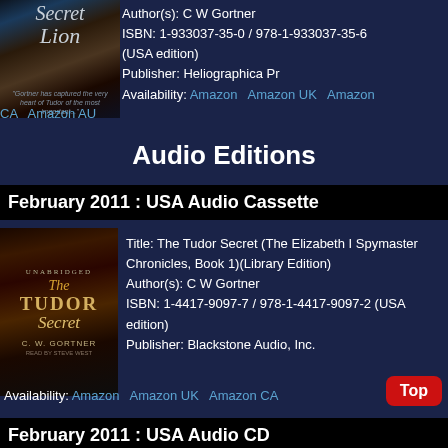[Figure (photo): Book cover for Secret Lion by C W Gortner, showing a hand holding a scroll against a dark background]
Author(s): C W Gortner
ISBN: 1-933037-35-0 / 978-1-933037-35-6 (USA edition)
Publisher: Heliographica Pr
Availability: Amazon   Amazon UK   Amazon CA   Amazon AU
Audio Editions
February 2011 : USA Audio Cassette
[Figure (photo): Audio book cover for The Tudor Secret by C.W. Gortner, read by Steve West, showing ornate Tudor-era imagery]
Title: The Tudor Secret (The Elizabeth I Spymaster Chronicles, Book 1)(Library Edition)
Author(s): C W Gortner
ISBN: 1-4417-9097-7 / 978-1-4417-9097-2 (USA edition)
Publisher: Blackstone Audio, Inc.
Availability: Amazon   Amazon UK   Amazon CA
February 2011 : USA Audio CD